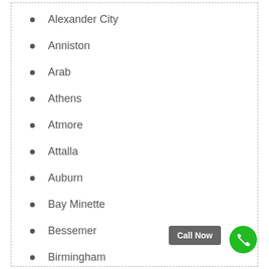Alexander City
Anniston
Arab
Athens
Atmore
Attalla
Auburn
Bay Minette
Bessemer
Birmingham